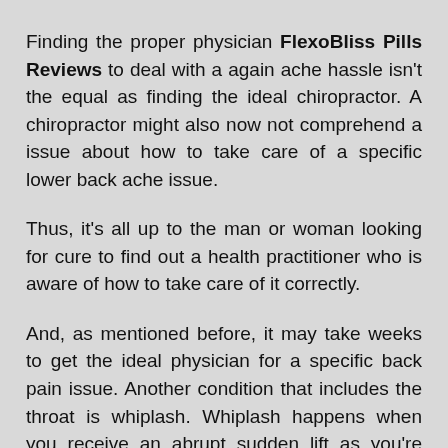Finding the proper physician FlexoBliss Pills Reviews to deal with a again ache hassle isn't the equal as finding the ideal chiropractor. A chiropractor might also now not comprehend a issue about how to take care of a specific lower back ache issue.
Thus, it's all up to the man or woman looking for cure to find out a health practitioner who is aware of how to take care of it correctly.
And, as mentioned before, it may take weeks to get the ideal physician for a specific back pain issue. Another condition that includes the throat is whiplash. Whiplash happens when you receive an abrupt sudden lift as you're driving.